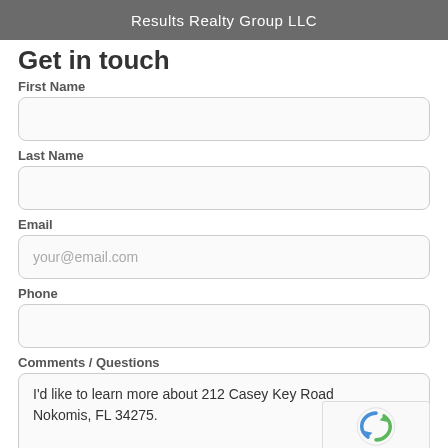Results Realty Group LLC
Get in touch
First Name
Last Name
Email
Phone
Comments / Questions
I'd like to learn more about 212 Casey Key Road Nokomis, FL 34275.